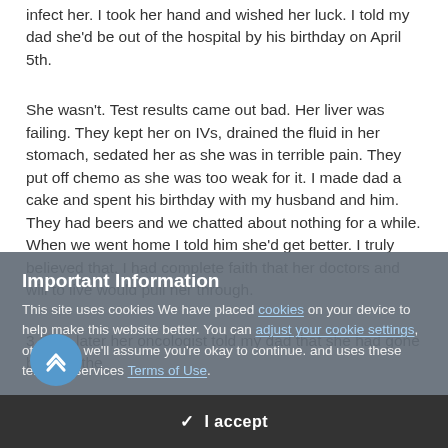infect her. I took her hand and wished her luck. I told my dad she'd be out of the hospital by his birthday on April 5th.
She wasn't. Test results came out bad. Her liver was failing. They kept her on IVs, drained the fluid in her stomach, sedated her as she was in terrible pain. They put off chemo as she was too weak for it. I made dad a cake and spent his birthday with my husband and him. They had beers and we chatted about nothing for a while. When we went home I told him she'd get better. I truly believed that. I had complete faith that her doctors and will to live would pull her through.
3 days later her oncologist told my dad that she had gone beyond the
Important Information
This site uses cookies We have placed cookies on your device to help make this website better. You can adjust your cookie settings, otherwise we'll assume you're okay to continue. and uses these terms of services Terms of Use.
✓  I accept